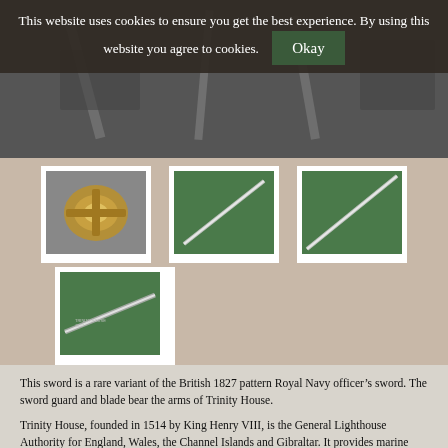[Figure (screenshot): Cookie consent banner overlay on a website showing sword images, with 'Okay' button]
[Figure (photo): Thumbnail of sword guard/hilt with gold ornate basket guard against grey background]
[Figure (photo): Thumbnail of sword blade mid-section on green background]
[Figure (photo): Thumbnail of sword blade tip on green background]
[Figure (photo): Thumbnail of etched sword blade on green background showing inscriptions]
This sword is a rare variant of the British 1827 pattern Royal Navy officer’s sword. The sword guard and blade bear the arms of Trinity House.
Trinity House, founded in 1514 by King Henry VIII, is the General Lighthouse Authority for England, Wales, the Channel Islands and Gibraltar. It provides marine navigation aids such as buoys and radio & satellite communication systems. Trinity House is also responsible for marking and dispos...